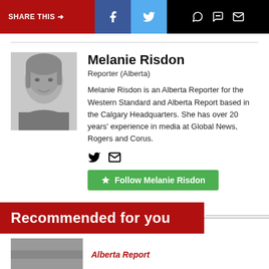SHARE THIS → [Facebook] [Twitter] [WhatsApp] [Chat] [Email]
Melanie Risdon
Reporter (Alberta)
Melanie Risdon is an Alberta Reporter for the Western Standard and Alberta Report based in the Calgary Headquarters. She has over 20 years' experience in media at Global News, Rogers and Corus.
★ Follow Melanie Risdon
Recommended for you
Alberta Report